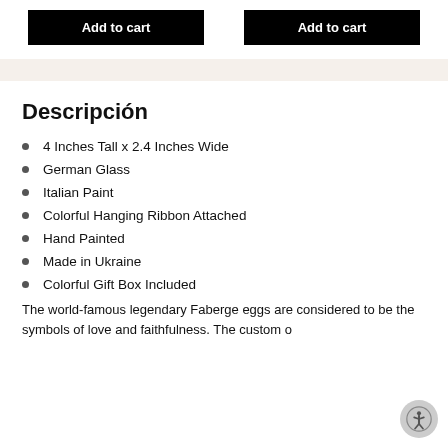[Figure (other): Two black 'Add to cart' buttons side by side at the top of the page]
Descripción
4 Inches Tall x 2.4 Inches Wide
German Glass
Italian Paint
Colorful Hanging Ribbon Attached
Hand Painted
Made in Ukraine
Colorful Gift Box Included
The world-famous legendary Faberge eggs are considered to be the symbols of love and faithfulness. The custom o